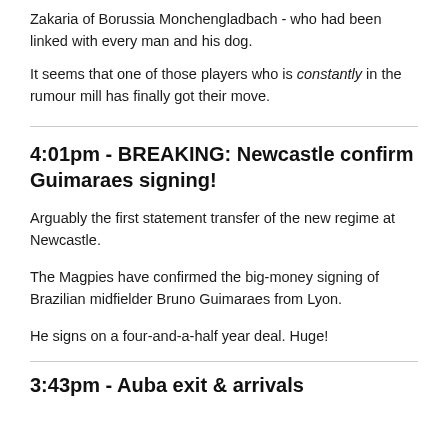Zakaria of Borussia Monchengladbach - who had been linked with every man and his dog.
It seems that one of those players who is constantly in the rumour mill has finally got their move.
4:01pm - BREAKING: Newcastle confirm Guimaraes signing!
Arguably the first statement transfer of the new regime at Newcastle.
The Magpies have confirmed the big-money signing of Brazilian midfielder Bruno Guimaraes from Lyon.
He signs on a four-and-a-half year deal. Huge!
3:43pm - Auba exit & arrivals